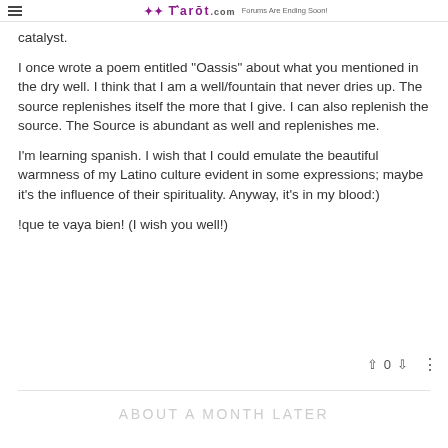tarot.com — Forums Are Ending Soon!
catalyst.
I once wrote a poem entitled "Oassis" about what you mentioned in the dry well. I think that I am a well/fountain that never dries up. The source replenishes itself the more that I give. I can also replenish the source. The Source is abundant as well and replenishes me.
I'm learning spanish. I wish that I could emulate the beautiful warmness of my Latino culture evident in some expressions; maybe it's the influence of their spirituality. Anyway, it's in my blood:)
!que te vaya bien! (I wish you well!)
ABOUT A MONTH LATER